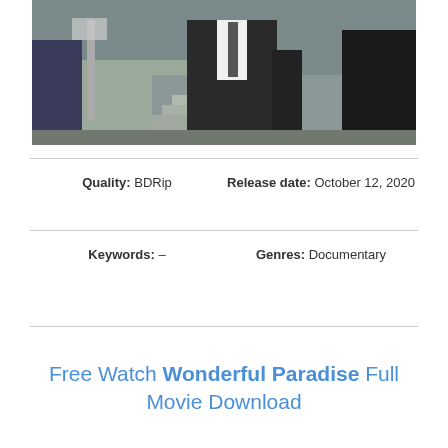[Figure (photo): A man in a dark suit and tie walking outdoors, screenshot from a documentary film]
Quality: BDRip    Release date: October 12, 2020
Keywords: –    Genres: Documentary
Free Watch Wonderful Paradise Full Movie Download